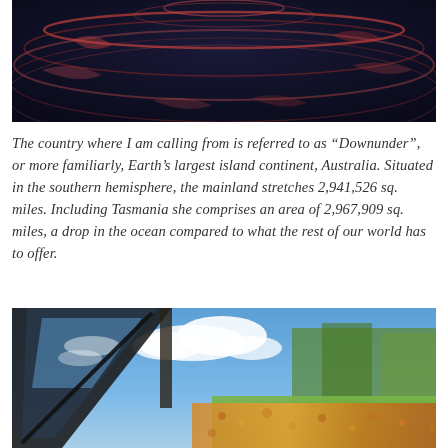[Figure (photo): Close-up photograph of dark blue water with red/pink ripples and reflections, suggesting a sunset or abstract water surface.]
The country where I am calling from is referred to as “Downunder”, or more familiarly, Earth’s largest island continent, Australia. Situated in the southern hemisphere, the mainland stretches 2,941,526 sq. miles. Including Tasmania she comprises an area of 2,967,909 sq. miles, a drop in the ocean compared to what the rest of our world has to offer.
[Figure (photo): Photograph showing a vehicle windshield reflecting blue sky and clouds, with autumn leaves and green trees in the background.]